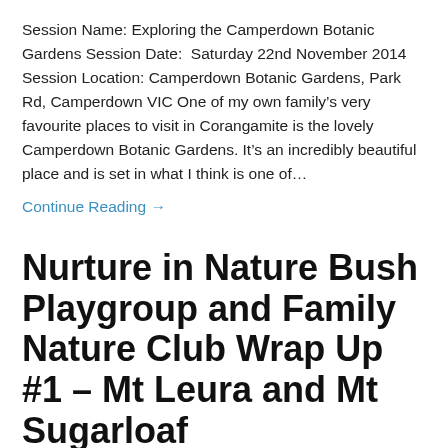Session Name: Exploring the Camperdown Botanic Gardens Session Date:  Saturday 22nd November 2014 Session Location: Camperdown Botanic Gardens, Park Rd, Camperdown VIC One of my own family’s very favourite places to visit in Corangamite is the lovely Camperdown Botanic Gardens. It’s an incredibly beautiful place and is set in what I think is one of…
Continue Reading →
Nurture in Nature Bush Playgroup and Family Nature Club Wrap Up #1 – Mt Leura and Mt Sugarloaf
Tania  |  0 Comments